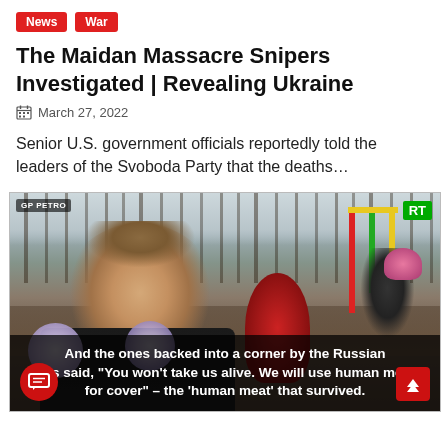News | War
The Maidan Massacre Snipers Investigated | Revealing Ukraine
March 27, 2022
Senior U.S. government officials reportedly told the leaders of the Svoboda Party that the deaths…
[Figure (photo): Video still from RT showing a woman being interviewed outdoors near playground equipment. Subtitle reads: And the ones backed into a corner by the Russian ops said, "You won't take us alive. We will use human meat for cover" – the 'human meat' that survived.]